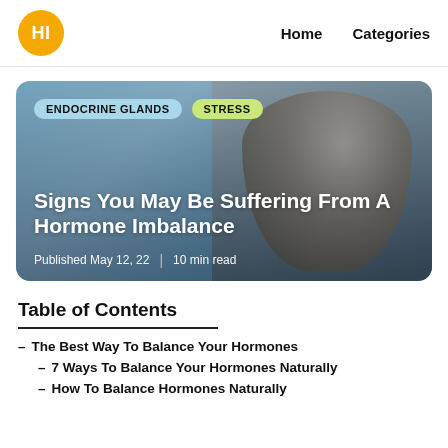HI  Home  Categories
[Figure (photo): Blog article hero card with tags ENDOCRINE GLANDS and STRESS, title 'Signs You May Be Suffering From A Hormone Imbalance', published May 12, 22, 10 min read, with a person in the background]
Table of Contents
– The Best Way To Balance Your Hormones
– 7 Ways To Balance Your Hormones Naturally
– How To Balance Hormones Naturally